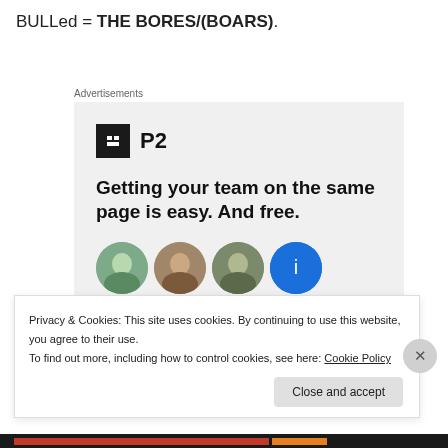BULLed = THE BORES/(BOARS).
Advertisements
[Figure (infographic): P2 advertisement with logo, headline 'Getting your team on the same page is easy. And free.' and circular avatar photos]
Privacy & Cookies: This site uses cookies. By continuing to use this website, you agree to their use.
To find out more, including how to control cookies, see here: Cookie Policy
Close and accept